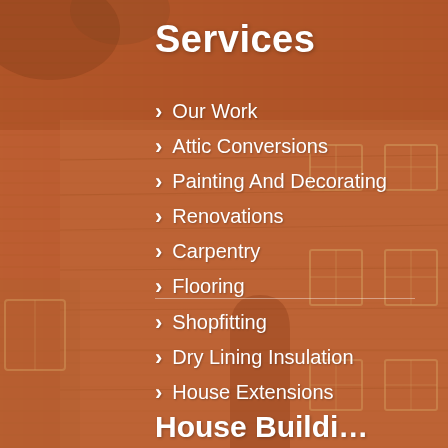[Figure (photo): A warm terracotta-toned photograph of a traditional stone house facade with arched doorway, multiple windows, and foliage — overlaid with a semi-transparent orange-red wash.]
Services
Our Work
Attic Conversions
Painting And Decorating
Renovations
Carpentry
Flooring
Shopfitting
Dry Lining Insulation
House Extensions
House Buildi…